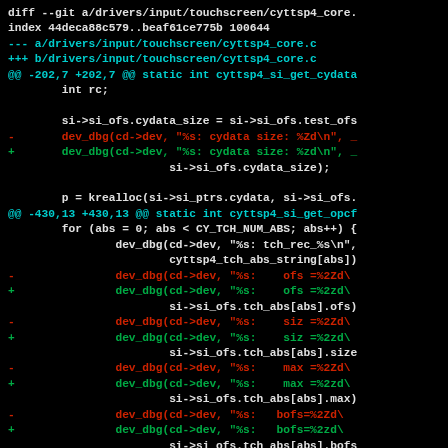[Figure (screenshot): A git diff output shown in a terminal with black background. The diff shows changes to drivers/input/touchscreen/cyttsp4_core.c. Lines are colored: white for context, cyan for file headers and hunk markers, red for removed lines, green for added lines. The diff replaces %Zd format specifiers with %zd in dev_dbg calls.]